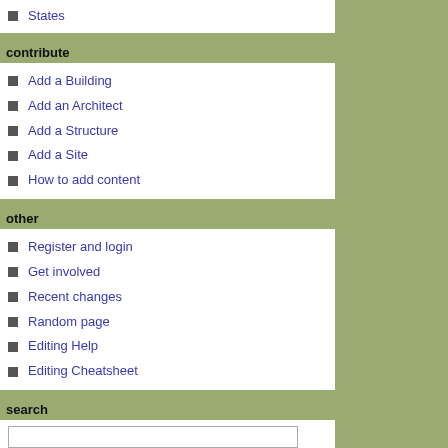States
contribute
Add a Building
Add an Architect
Add a Structure
Add a Site
How to add content
other
Register and login
Get involved
Recent changes
Random page
Editing Help
Editing Cheatsheet
search
toolbox
What links here
Related changes
Upload file